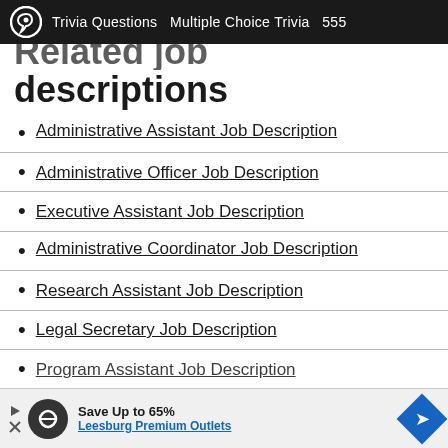Trivia Questions  Multiple Choice Trivia  555
Related job descriptions
Administrative Assistant Job Description
Administrative Officer Job Description
Executive Assistant Job Description
Administrative Coordinator Job Description
Research Assistant Job Description
Legal Secretary Job Description
Program Assistant Job Description